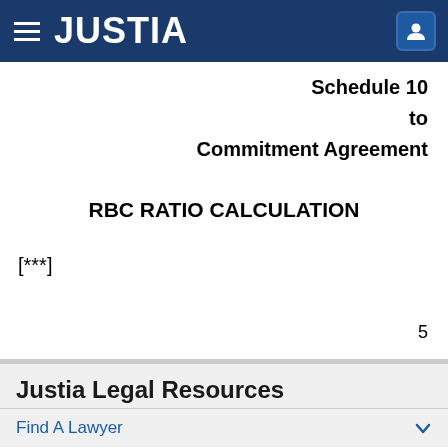JUSTIA
Schedule 10
to
Commitment Agreement
RBC RATIO CALCULATION
[***]
5
Justia Legal Resources
Find A Lawyer